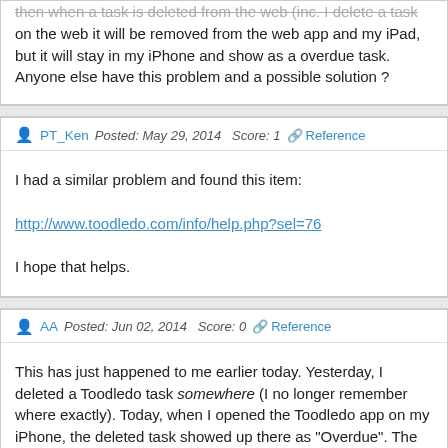then when a task is deleted from the web (inc. I delete a task on the web it will be removed from the web app and my iPad, but it will stay in my iPhone and show as a overdue task. Anyone else have this problem and a possible solution ?
PT_Ken  Posted: May 29, 2014  Score: 1  Reference
I had a similar problem and found this item:

http://www.toodledo.com/info/help.php?sel=76

I hope that helps.
AA  Posted: Jun 02, 2014  Score: 0  Reference
This has just happened to me earlier today. Yesterday, I deleted a Toodledo task somewhere (I no longer remember where exactly). Today, when I opened the Toodledo app on my iPhone, the deleted task showed up there as "Overdue". The task was only present in the Toodledo app on my iPhone, not on the iPad or on the website. So, I had to delete